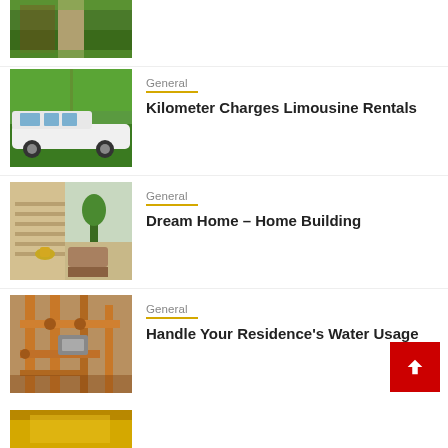[Figure (photo): Partial view of a house exterior with green lawn and pathway, cropped at top]
[Figure (photo): White Hummer limousine parked outdoors with trees in background]
General
Kilometer Charges Limousine Rentals
[Figure (photo): Luxury home interior with stairs, plants, and modern decor]
General
Dream Home – Home Building
[Figure (photo): Copper water pipes and plumbing fixtures on a wall]
General
Handle Your Residence's Water Usage
[Figure (photo): Partially visible thumbnail at bottom of page]